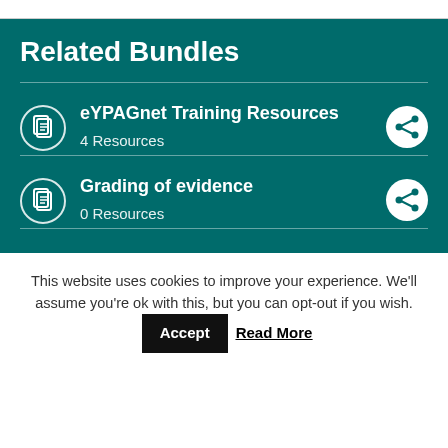Related Bundles
eYPAGnet Training Resources – 4 Resources
Grading of evidence – 0 Resources
This website uses cookies to improve your experience. We'll assume you're ok with this, but you can opt-out if you wish. Accept Read More